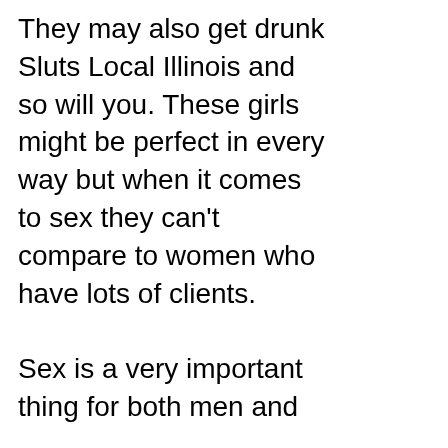They may also get drunk Sluts Local Illinois and so will you. These girls might be perfect in every way but when it comes to sex they can't compare to women who have lots of clients.

Sex is a very important thing for both men and